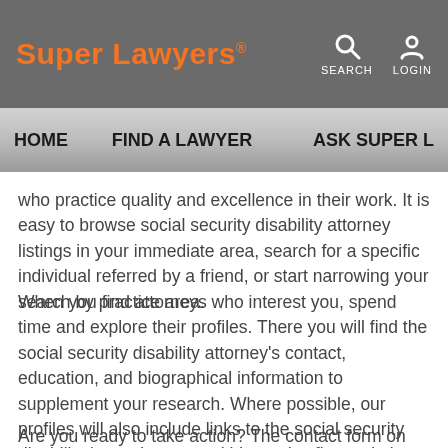Super Lawyers® | SEARCH | LOGIN
HOME | FIND A LAWYER | ASK SUPER L…
who practice quality and excellence in their work. It is easy to browse social security disability attorney listings in your immediate area, search for a specific individual referred by a friend, or start narrowing your search by practice area.
When you find attorneys who interest you, spend time and explore their profiles. There you will find the social security disability attorney's contact, education, and biographical information to supplement your research. Where possible, our profiles will also include links to the social security disability lawyer's personal biography, firm website, and other relevant information to consider.
Are you ready to take action? The contact form on an